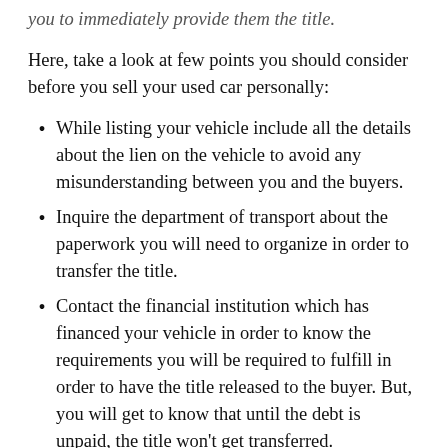you to immediately provide them the title.
Here, take a look at few points you should consider before you sell your used car personally:
While listing your vehicle include all the details about the lien on the vehicle to avoid any misunderstanding between you and the buyers.
Inquire the department of transport about the paperwork you will need to organize in order to transfer the title.
Contact the financial institution which has financed your vehicle in order to know the requirements you will be required to fulfill in order to have the title released to the buyer. But, you will get to know that until the debt is unpaid, the title won't get transferred.
However, the lienholder will allow you to transfer the liability of the payments. If the buyer is getting the automobile financed from a different lender, or is going to give you the money. Then you go directly to the lienholder to pay off the debt. Title can then be